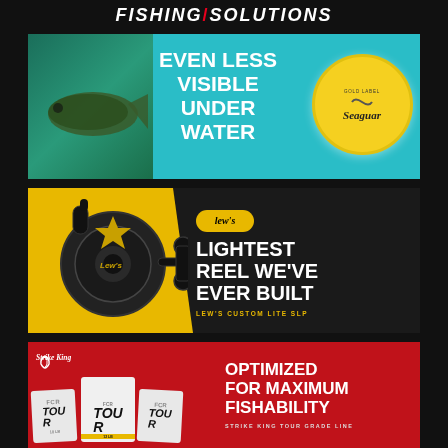FISHING / SOLUTIONS
[Figure (photo): Seaguar Gold Label fluorocarbon fishing line advertisement with a bass underwater. Text: EVEN LESS VISIBLE UNDER WATER. Features Seaguar Gold Label spool image.]
[Figure (photo): Lew's Custom Lite SLP baitcasting reel advertisement on black and gold background. Text: LIGHTEST REEL WE'VE EVER BUILT. LEW'S CUSTOM LITE SLP.]
[Figure (photo): Strike King Tour Grade Line advertisement on red background. Text: OPTIMIZED FOR MAXIMUM FISHABILITY. STRIKE KING TOUR GRADE LINE. Shows multiple Tour Grade fishing line boxes.]